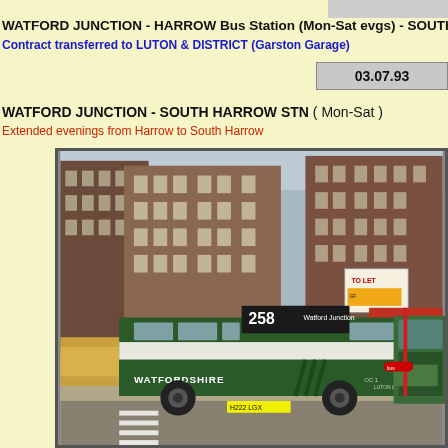WATFORD JUNCTION - HARROW Bus Station (Mon-Sat evgs) - SOUTH HA...
Contract transferred to LUTON & DISTRICT (Garston Garage)
03.07.93
WATFORD JUNCTION - SOUTH HARROW STN ( Mon-Sat )
Extended evenings from Harrow to South Harrow
[Figure (photo): A green and white Watfordshire/Luton & District bus, route 258 to Watford Junction, stopped on a street in front of brick commercial buildings. The bus displays 'WATFORDSHIRE' on its side and 'OC1 LUTON & DISTRICT' near the front. Registration H222 LGX. A 'TO LET' sign is visible on a building. People and street furniture visible.]